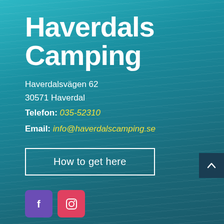Haverdals Camping
Haverdalsvägen 62
30571 Haverdal
Telefon: 035-52310
Email: info@haverdalscamping.se
How to get here
[Figure (logo): Facebook icon (purple square with letter f) and Instagram icon (pink/red square with camera outline)]